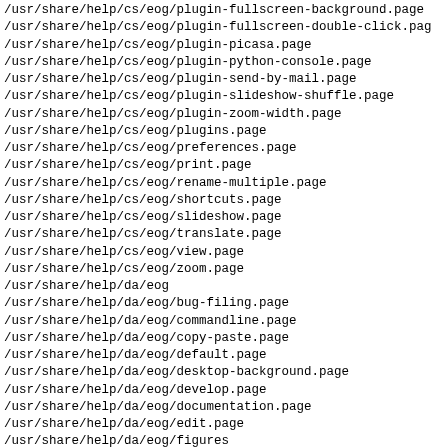/usr/share/help/cs/eog/plugin-fullscreen-background.page
/usr/share/help/cs/eog/plugin-fullscreen-double-click.page
/usr/share/help/cs/eog/plugin-picasa.page
/usr/share/help/cs/eog/plugin-python-console.page
/usr/share/help/cs/eog/plugin-send-by-mail.page
/usr/share/help/cs/eog/plugin-slideshow-shuffle.page
/usr/share/help/cs/eog/plugin-zoom-width.page
/usr/share/help/cs/eog/plugins.page
/usr/share/help/cs/eog/preferences.page
/usr/share/help/cs/eog/print.page
/usr/share/help/cs/eog/rename-multiple.page
/usr/share/help/cs/eog/shortcuts.page
/usr/share/help/cs/eog/slideshow.page
/usr/share/help/cs/eog/translate.page
/usr/share/help/cs/eog/view.page
/usr/share/help/cs/eog/zoom.page
/usr/share/help/da/eog
/usr/share/help/da/eog/bug-filing.page
/usr/share/help/da/eog/commandline.page
/usr/share/help/da/eog/copy-paste.page
/usr/share/help/da/eog/default.page
/usr/share/help/da/eog/desktop-background.page
/usr/share/help/da/eog/develop.page
/usr/share/help/da/eog/documentation.page
/usr/share/help/da/eog/edit.page
/usr/share/help/da/eog/figures
/usr/share/help/da/eog/figures/image-view-prefs.png
/usr/share/help/da/eog/figures/multiple-convert.png
/usr/share/help/da/eog/figures/multiple-rename-count.png
/usr/share/help/da/eog/figures/org.gnome.eog-symbolic.svg